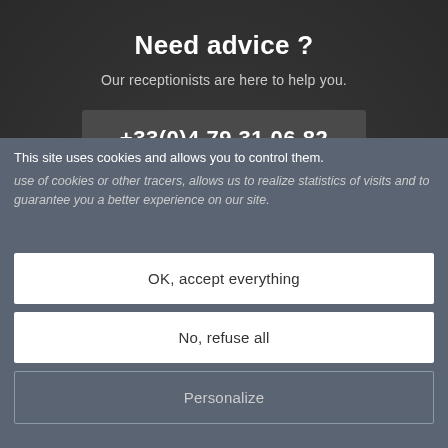Need advice ?
Our receptionists are here to help you.
+33(0)4 79 31 06 82
Write us
SUBSCRIBE TO OUR NEWSLETTER
This site uses cookies and allows you to control them. use of cookies or other tracers, allows us to realize statistics of visits and to guarantee you a better experience on our site.
OK, accept everything
No, refuse all
Personalize